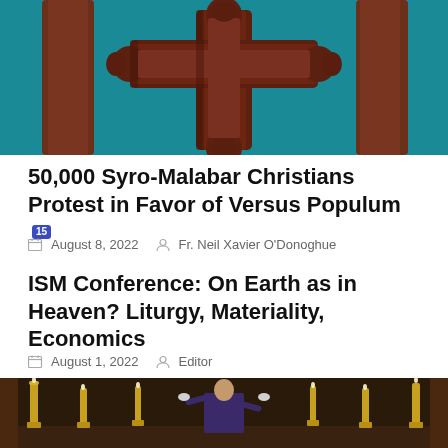[Figure (photo): Dark wooden ornate cross with teal/green background and wooden pillars on either side]
50,000 Syro-Malabar Christians Protest in Favor of Versus Populum [15 comment badge]
August 8, 2022   Fr. Neil Xavier O'Donoghue
ISM Conference: On Earth as in Heaven? Liturgy, Materiality, Economics
August 1, 2022   Editor
[Figure (photo): Priest at altar facing away from congregation, with golden candlesticks, performing liturgy]